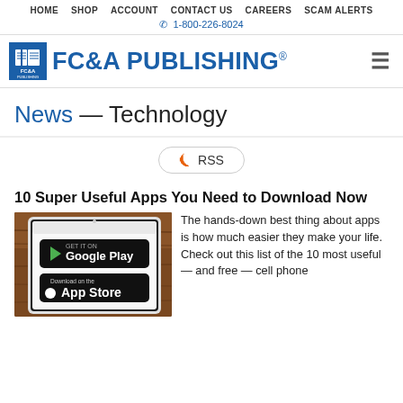HOME   SHOP   ACCOUNT   CONTACT US   CAREERS   SCAM ALERTS
1-800-226-8024
[Figure (logo): FC&A Publishing logo with book icon]
News — Technology
RSS
10 Super Useful Apps You Need to Download Now
[Figure (photo): Tablet device on wooden table showing Google Play and App Store download buttons]
The hands-down best thing about apps is how much easier they make your life. Check out this list of the 10 most useful — and free — cell phone